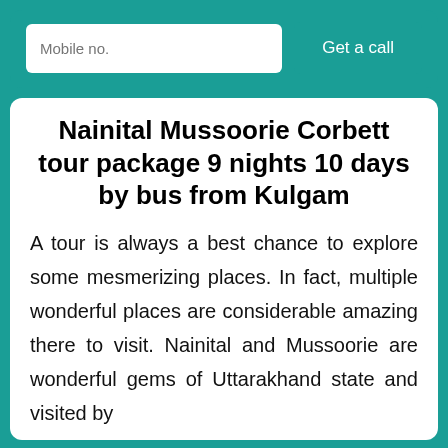[Figure (other): Teal banner with a mobile number input field and a 'Get a call' button]
Nainital Mussoorie Corbett tour package 9 nights 10 days by bus from Kulgam
A tour is always a best chance to explore some mesmerizing places. In fact, multiple wonderful places are considerable amazing there to visit. Nainital and Mussoorie are wonderful gems of Uttarakhand state and visited by